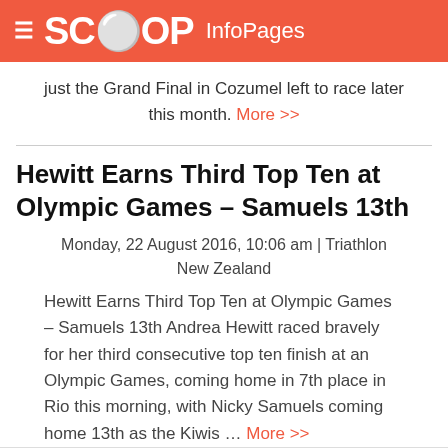SCOOP InfoPages
just the Grand Final in Cozumel left to race later this month. More >>
Hewitt Earns Third Top Ten at Olympic Games – Samuels 13th
Monday, 22 August 2016, 10:06 am | Triathlon New Zealand
Hewitt Earns Third Top Ten at Olympic Games – Samuels 13th Andrea Hewitt raced bravely for her third consecutive top ten finish at an Olympic Games, coming home in 7th place in Rio this morning, with Nicky Samuels coming home 13th as the Kiwis … More >>